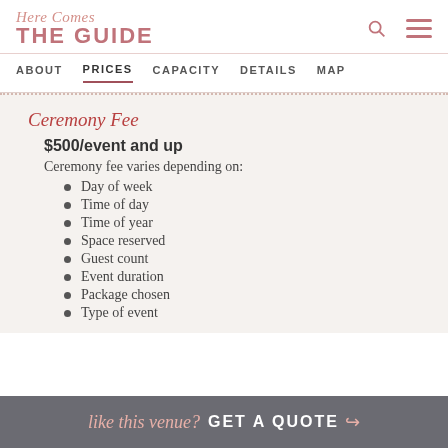Here Comes THE GUIDE
ABOUT  PRICES  CAPACITY  DETAILS  MAP
Ceremony Fee
$500/event and up
Ceremony fee varies depending on:
Day of week
Time of day
Time of year
Space reserved
Guest count
Event duration
Package chosen
Type of event
like this venue? GET A QUOTE